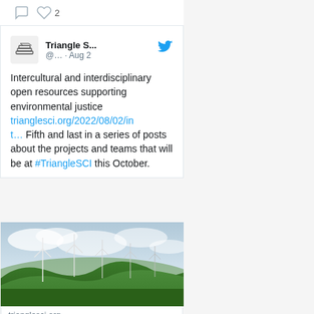[Figure (screenshot): Twitter/social media icons - comment bubble and heart with count '2']
Triangle S... @... · Aug 2
Intercultural and interdisciplinary open resources supporting environmental justice trianglesci.org/2022/08/02/int… Fifth and last in a series of posts about the projects and teams that will be at #TriangleSCI this October.
[Figure (photo): Wind turbines on green rolling hills with cloudy sky]
trianglesci.org
Intercultural and